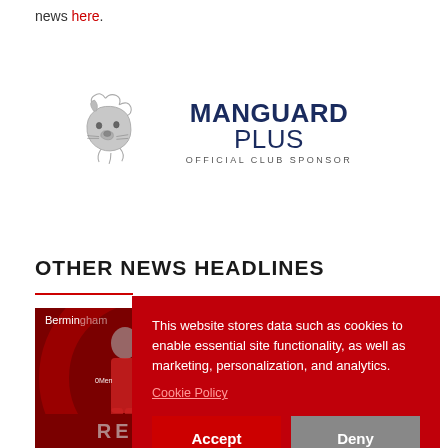news here.
[Figure (logo): Manguard Plus official club sponsor logo with lion head graphic]
OTHER NEWS HEADLINES
[Figure (photo): Football player in red kit, partial view, with headline about Birmingham departing after 15 seasons]
This website stores data such as cookies to enable essential site functionality, as well as marketing, personalization, and analytics.
Cookie Policy
Accept
Deny